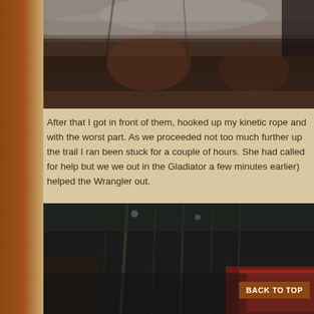[Figure (photo): Close-up photo of icy, frozen surface with dark rocky or muddy tones and cloudy sky reflections, appears to be a trail covered in ice and snow]
After that I got in front of them, hooked up my kinetic rope and with worst part. As we proceeded not too much further up the trail I ran been stuck for a couple of hours. She had called for help but we we out in the Gladiator a few minutes earlier) helped the Wrangler out.
[Figure (photo): Nighttime photo of bare winter trees with a red Jeep Wrangler visible in the lower right, taken on a dark forest trail]